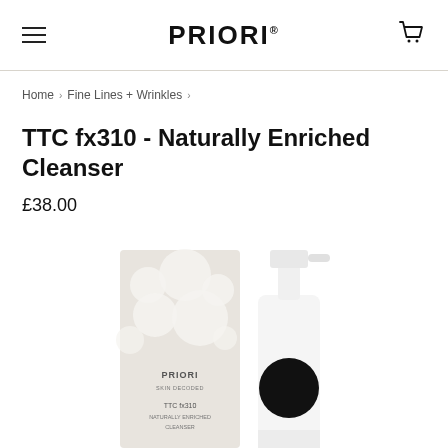PRIORI
Home › Fine Lines + Wrinkles ›
TTC fx310 - Naturally Enriched Cleanser
£38.00
[Figure (photo): Product photo showing PRIORI TTC fx310 Naturally Enriched Cleanser box packaging with bubble pattern design and a white pump bottle with black cap, both on white background]